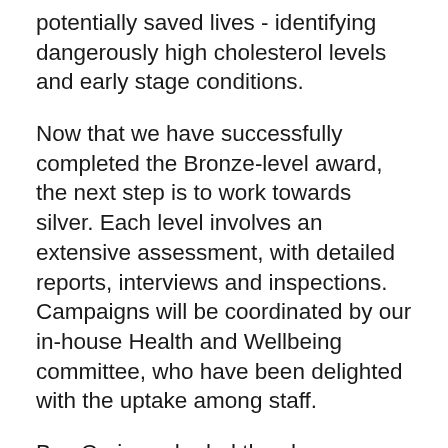potentially saved lives - identifying dangerously high cholesterol levels and early stage conditions.
Now that we have successfully completed the Bronze-level award, the next step is to work towards silver. Each level involves an extensive assessment, with detailed reports, interviews and inspections. Campaigns will be coordinated by our in-house Health and Wellbeing committee, who have been delighted with the uptake among staff.
Bex Carins, who led the charge on the project, said: “When we first signed up to the Better Health at Work Award last summer, I was really taken back at the positive response it received throughout the office and this has continued throughout the year. For me, personal...